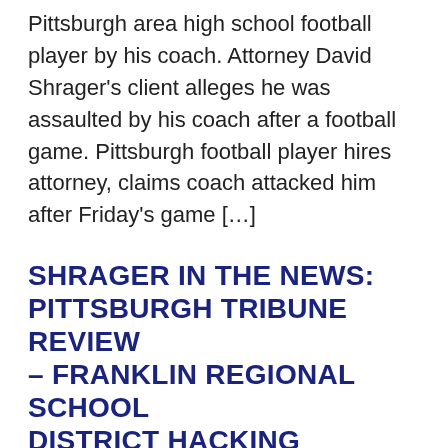Pittsburgh area high school football player by his coach. Attorney David Shrager's client alleges he was assaulted by his coach after a football game. Pittsburgh football player hires attorney, claims coach attacked him after Friday's game […]
SHRAGER IN THE NEWS: PITTSBURGH TRIBUNE REVIEW – FRANKLIN REGIONAL SCHOOL DISTRICT HACKING
Pittsburgh Tribune Live Lawyer for Franklin Regional hacking suspect wants certain evidence tossed out JEFF HIMLER  | Friday, Dec. 29, 2017, 7:42 p.m. The attorney of a former Franklin Regional School District student accused of launching cyber attacks in 2016 that affected local school districts, the Catholic diocese and